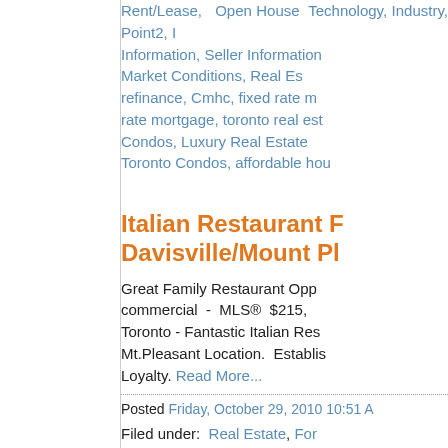Rent/Lease, Open House, Technology, Industry, Point2, Information, Seller Information, Market Conditions, Real Estate, refinance, Cmhc, fixed rate mortgage, rate mortgage, toronto real estate, Condos, Luxury Real Estate, Toronto Condos, affordable housing
Italian Restaurant For Sale - Davisville/Mount Pleasant
Great Family Restaurant Opportunity - commercial - MLS® $215, Toronto - Fantastic Italian Restaurant - Mt.Pleasant Location. Established Loyalty. Read More...
Posted Friday, October 29, 2010 10:51 AM
Filed under: Real Estate, For Sale, Point2, Buyer Information, Condos, Toronto, coldwell banker toronto